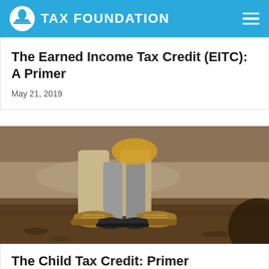TAX FOUNDATION
The Earned Income Tax Credit (EITC): A Primer
May 21, 2019
[Figure (photo): Close-up photo of an adult and child standing outdoors on dirt ground. The adult wears tan work boots and khaki trousers; the child wears grey jeans, black sneakers, and is shown from the waist down. A blurred background shows water and foliage in an autumn/winter setting.]
The Child Tax Credit: Primer